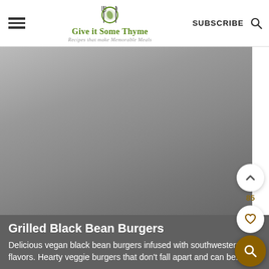Give it Some Thyme — Recipes that make Memorable Meals | SUBSCRIBE
[Figure (photo): Food photo placeholder — grilled black bean burgers, gray gradient placeholder image]
Grilled Black Bean Burgers
Delicious vegan black bean burgers infused with southwestern flavors. Hearty veggie burgers that don't fall apart and can be...